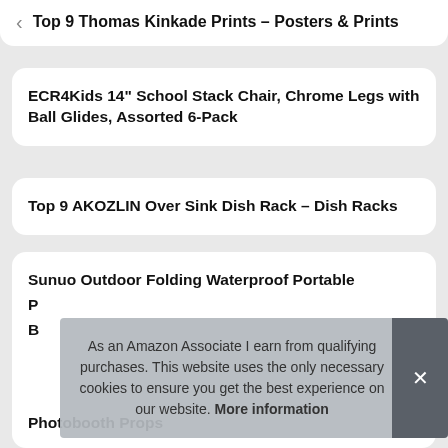Top 9 Thomas Kinkade Prints – Posters & Prints
ECR4Kids 14" School Stack Chair, Chrome Legs with Ball Glides, Assorted 6-Pack
Top 9 AKOZLIN Over Sink Dish Rack – Dish Racks
Sunuo Outdoor Folding Waterproof Portable Photobooth Props
As an Amazon Associate I earn from qualifying purchases. This website uses the only necessary cookies to ensure you get the best experience on our website. More information